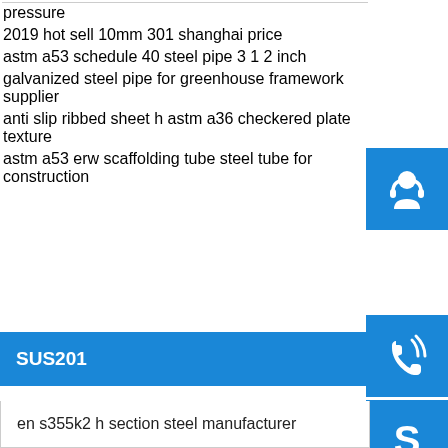pressure
2019 hot sell 10mm 301 shanghai price
astm a53 schedule 40 steel pipe 3 1 2 inch
galvanized steel pipe for greenhouse framework supplier
anti slip ribbed sheet h astm a36 checkered plate texture
astm a53 erw scaffolding tube steel tube for construction
SUS201
en s355k2 h section steel manufacturer